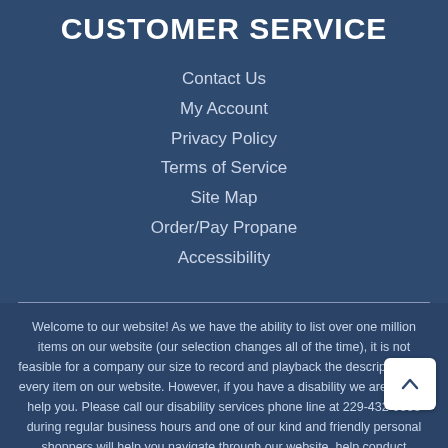CUSTOMER SERVICE
Contact Us
My Account
Privacy Policy
Terms of Service
Site Map
Order/Pay Propane
Accessibility
Welcome to our website! As we have the ability to list over one million items on our website (our selection changes all of the time), it is not feasible for a company our size to record and playback the descriptions on every item on our website. However, if you have a disability we are here to help you. Please call our disability services phone line at 229-432-9338 during regular business hours and one of our kind and friendly personal shoppers will help you navigate through our website, help conduct advanced searches, help you choose the item you are looking for with the specifications you are seeking, read you the specifications of any item and consult with you about the products themselves. There is no charge for the help of this personal shopper for anyone with a disability. Finally, your personal shopper will